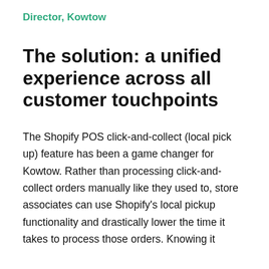Director, Kowtow
The solution: a unified experience across all customer touchpoints
The Shopify POS click-and-collect (local pick up) feature has been a game changer for Kowtow. Rather than processing click-and-collect orders manually like they used to, store associates can use Shopify's local pickup functionality and drastically lower the time it takes to process those orders. Knowing it